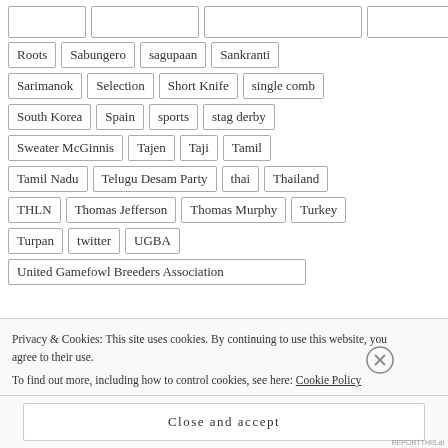Roots
Sabungero
sagupaan
Sankranti
Sarimanok
Selection
Short Knife
single comb
South Korea
Spain
sports
stag derby
Sweater McGinnis
Tajen
Taji
Tamil
Tamil Nadu
Telugu Desam Party
thai
Thailand
THLN
Thomas Jefferson
Thomas Murphy
Turkey
Turpan
twitter
UGBA
United Gamefowl Breeders Association
Privacy & Cookies: This site uses cookies. By continuing to use this website, you agree to their use.
To find out more, including how to control cookies, see here: Cookie Policy
Close and accept